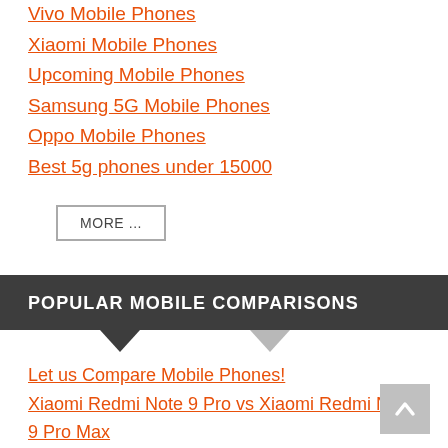Vivo Mobile Phones
Xiaomi Mobile Phones
Upcoming Mobile Phones
Samsung 5G Mobile Phones
Oppo Mobile Phones
Best 5g phones under 15000
MORE ...
POPULAR MOBILE COMPARISONS
Let us Compare Mobile Phones!
Xiaomi Redmi Note 9 Pro vs Xiaomi Redmi Note 9 Pro Max
Xiaomi Redmi Note 9 Pro Max vs Poco X3
Samsung Galaxy M51 vs Samsung Galaxy F62
Xiaomi Redmi 9 Prime vs Xiaomi Redmi 9 P...